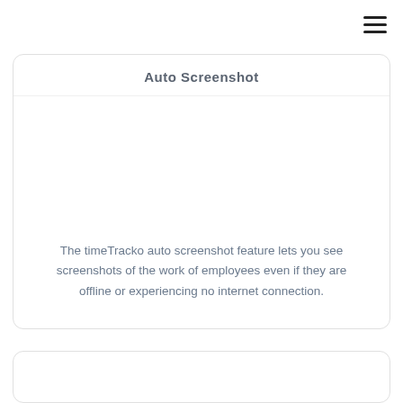[Figure (screenshot): Hamburger menu icon (three horizontal lines) in top right corner]
Auto Screenshot
The timeTracko auto screenshot feature lets you see screenshots of the work of employees even if they are offline or experiencing no internet connection.
[Figure (screenshot): Bottom card panel, partially visible]